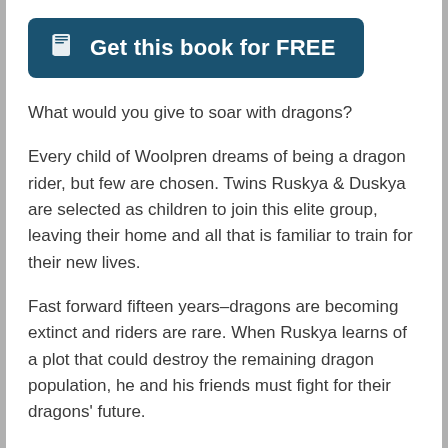[Figure (other): A teal/dark blue rounded button with a book icon and text 'Get this book for FREE']
What would you give to soar with dragons?
Every child of Woolpren dreams of being a dragon rider, but few are chosen. Twins Ruskya & Duskya are selected as children to join this elite group, leaving their home and all that is familiar to train for their new lives.
Fast forward fifteen years–dragons are becoming extinct and riders are rare. When Ruskya learns of a plot that could destroy the remaining dragon population, he and his friends must fight for their dragons' future.